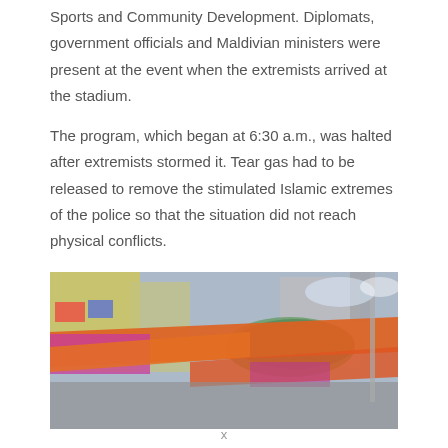Sports and Community Development. Diplomats, government officials and Maldivian ministers were present at the event when the extremists arrived at the stadium.
The program, which began at 6:30 a.m., was halted after extremists stormed it. Tear gas had to be released to remove the stimulated Islamic extremes of the police so that the situation did not reach physical conflicts.
[Figure (photo): A blurry, colorful outdoor scene showing what appears to be a stadium or public venue area with orange and pink banners/decorations, buildings in the background, crowds below, and a cloudy sky. The image appears motion-blurred.]
x